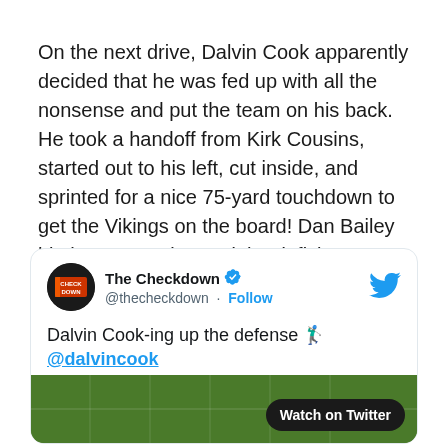On the next drive, Dalvin Cook apparently decided that he was fed up with all the nonsense and put the team on his back. He took a handoff from Kirk Cousins, started out to his left, cut inside, and sprinted for a nice 75-yard touchdown to get the Vikings on the board! Dan Bailey hit the extra point, and the deficit was down to 21-7.
[Figure (screenshot): Embedded tweet from @thecheckdown (The Checkdown) with verified badge and Follow button. Tweet text reads: 'Dalvin Cook-ing up the defense 🏌️ @dalvincook'. Below the tweet text is a cropped football field video thumbnail with a 'Watch on Twitter' button.]